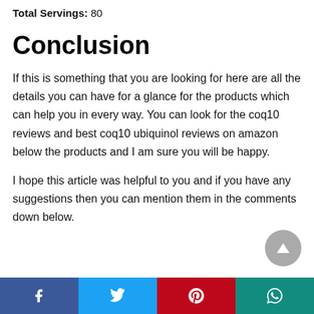Total Servings: 80
Conclusion
If this is something that you are looking for here are all the details you can have for a glance for the products which can help you in every way. You can look for the coq10 reviews and best coq10 ubiquinol reviews on amazon below the products and I am sure you will be happy.
I hope this article was helpful to you and if you have any suggestions then you can mention them in the comments down below.
[Figure (other): Social share bar with Facebook, Twitter, Pinterest, and WhatsApp buttons]